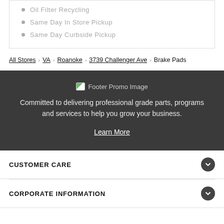Oil Filter Recycling
Same Day In Store Pickup
Same Day Curbside Pickup
All Stores > VA > Roanoke > 3739 Challenger Ave > Brake Pads
[Figure (other): Footer Promo Image placeholder icon]
Committed to delivering professional grade parts, programs and services to help you grow your business.
Learn More
CUSTOMER CARE
CORPORATE INFORMATION